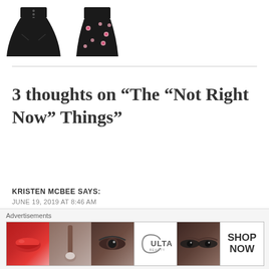[Figure (photo): Two women's dresses: a black button-front dress and a black floral romper/dress]
3 thoughts on “The “Not Right Now” Things”
KRISTEN MCBEE SAYS:
JUNE 19, 2019 AT 8:46 AM
[Figure (photo): Ulta Beauty advertisement banner showing makeup/cosmetics imagery with SHOP NOW call to action]